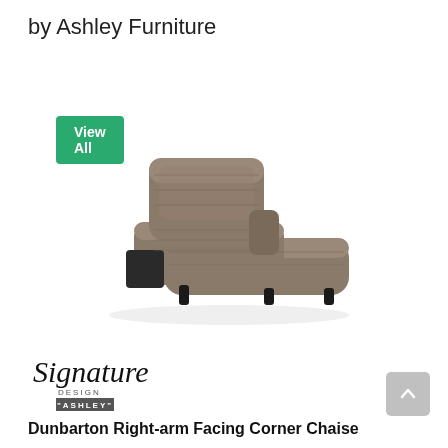by Ashley Furniture
View All
[Figure (photo): A gray/taupe upholstered right-arm facing corner chaise lounge chair with tufted back and dark legs, shown on white background.]
[Figure (logo): Signature Design by Ashley logo — cursive 'Signature' above 'DESIGN' and 'ASHLEY' in small caps with a rectangular border]
Dunbarton Right-arm Facing Corner Chaise